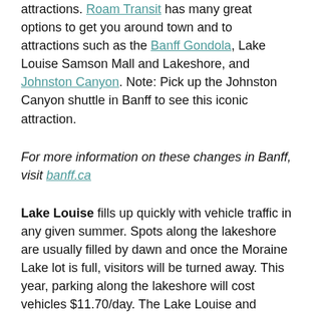attractions. Roam Transit has many great options to get you around town and to attractions such as the Banff Gondola, Lake Louise Samson Mall and Lakeshore, and Johnston Canyon. Note: Pick up the Johnston Canyon shuttle in Banff to see this iconic attraction.
For more information on these changes in Banff, visit banff.ca
Lake Louise fills up quickly with vehicle traffic in any given summer. Spots along the lakeshore are usually filled by dawn and once the Moraine Lake lot is full, visitors will be turned away. This year, parking along the lakeshore will cost vehicles $11.70/day. The Lake Louise and Moraine Lake shuttle is $8/adults, $4/seniors and $2 for youth. Children under 6 ride free. Meet the shuttle at the Park and Ride area off